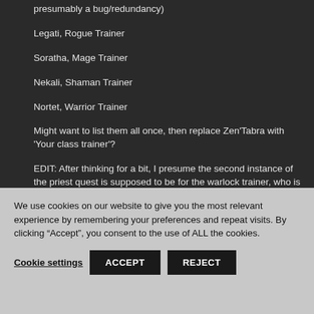presumably a bug/redundancy)
Legati, Rogue Trainer
Soratha, Mage Trainer
Nekali, Shaman Trainer
Nortet, Warrior Trainer
Might want to list them all once, then replace Zen'Tabra with 'Your class trainer'?
EDIT: After thinking for a bit, I presume the second instance of the priest quest is supposed to be for the warlock trainer, who is presumably not implemented.
95% sure the warlock trainer is http://cata.wowhead.com/npc=42618 Voldreka.
We use cookies on our website to give you the most relevant experience by remembering your preferences and repeat visits. By clicking “Accept”, you consent to the use of ALL the cookies.
Cookie settings  ACCEPT  REJECT